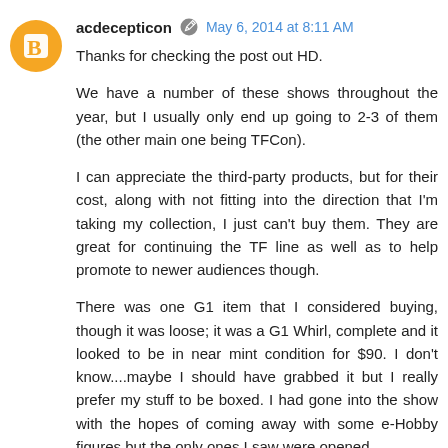acdecepticon · May 6, 2014 at 8:11 AM
Thanks for checking the post out HD.
We have a number of these shows throughout the year, but I usually only end up going to 2-3 of them (the other main one being TFCon).
I can appreciate the third-party products, but for their cost, along with not fitting into the direction that I'm taking my collection, I just can't buy them. They are great for continuing the TF line as well as to help promote to newer audiences though.
There was one G1 item that I considered buying, though it was loose; it was a G1 Whirl, complete and it looked to be in near mint condition for $90. I don't know....maybe I should have grabbed it but I really prefer my stuff to be boxed. I had gone into the show with the hopes of coming away with some e-Hobby figures but the only ones I saw were opened.